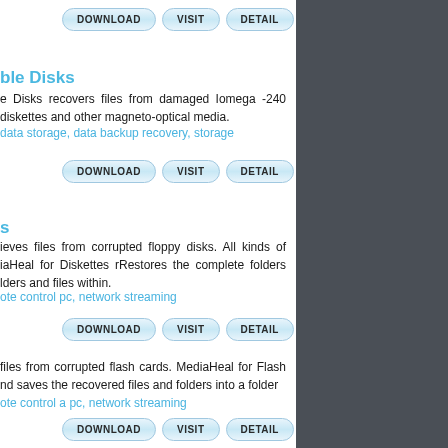[Figure (screenshot): Row of three buttons: DOWNLOAD, VISIT, DETAIL]
ble Disks
e Disks recovers files from damaged Iomega -240 diskettes and other magneto-optical media.
data storage, data backup recovery, storage
[Figure (screenshot): Row of three buttons: DOWNLOAD, VISIT, DETAIL]
s
ieves files from corrupted floppy disks. All kinds of iaHeal for Diskettes rRestores the complete folders lders and files within.
ote control pc, network streaming
[Figure (screenshot): Row of three buttons: DOWNLOAD, VISIT, DETAIL]
files from corrupted flash cards. MediaHeal for Flash nd saves the recovered files and folders into a folder
ote control a pc, network streaming
[Figure (screenshot): Row of three buttons: DOWNLOAD, VISIT, DETAIL]